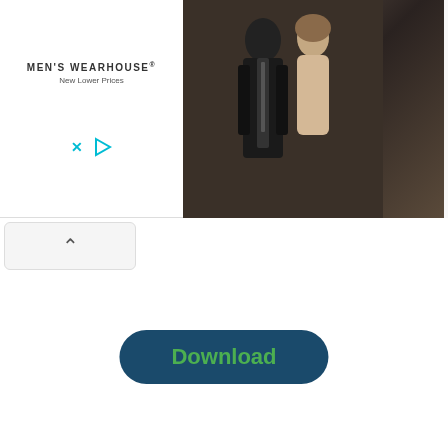[Figure (photo): Men's Wearhouse advertisement banner showing a couple in formal wedding attire and a man in a dark suit, with an INFO button]
[Figure (screenshot): Collapse/chevron up button below the ad banner]
[Figure (other): Dark teal rounded rectangle Download button with green bold text]
Bike Riding Love Whatsapp Status Video
[Figure (screenshot): Embedded video player with dark background, showing 0:00 timestamp and playback controls including play, volume, fullscreen, and share icons]